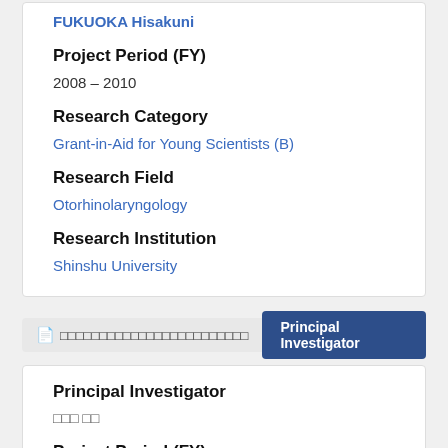FUKUOKA Hisakuni
Project Period (FY)
2008 – 2010
Research Category
Grant-in-Aid for Young Scientists (B)
Research Field
Otorhinolaryngology
Research Institution
Shinshu University
□□□□□□□□□□□□□□□□□□□□□□□□
Principal Investigator
Principal Investigator
□□□ □□
Project Period (FY)